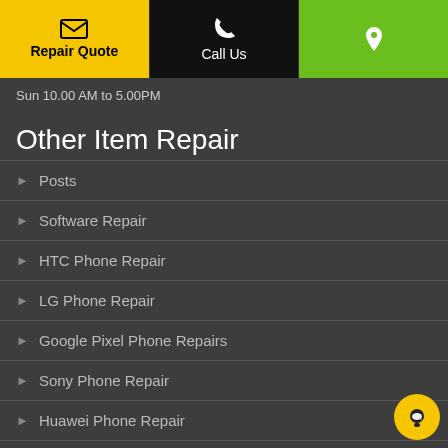Repair Quote | Call Us | Location
Sun 10.00 AM to 5.00PM
Other Item Repair
Posts
Software Repair
HTC Phone Repair
LG Phone Repair
Google Pixel Phone Repairs
Sony Phone Repair
Huawei Phone Repair